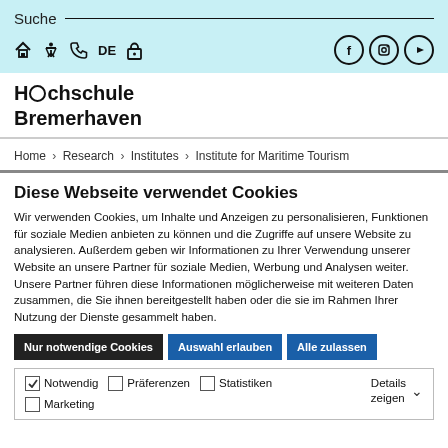Suche
[Figure (screenshot): Navigation icon bar with home, accessibility, phone, DE language, lock icons on left and Facebook, Instagram, YouTube social icons on right]
[Figure (logo): Hochschule Bremerhaven logo with circular O]
Home > Research > Institutes > Institute for Maritime Tourism
Diese Webseite verwendet Cookies
Wir verwenden Cookies, um Inhalte und Anzeigen zu personalisieren, Funktionen für soziale Medien anbieten zu können und die Zugriffe auf unsere Website zu analysieren. Außerdem geben wir Informationen zu Ihrer Verwendung unserer Website an unsere Partner für soziale Medien, Werbung und Analysen weiter. Unsere Partner führen diese Informationen möglicherweise mit weiteren Daten zusammen, die Sie ihnen bereitgestellt haben oder die sie im Rahmen Ihrer Nutzung der Dienste gesammelt haben.
Nur notwendige Cookies | Auswahl erlauben | Alle zulassen
Notwendig  Präferenzen  Statistiken  Marketing  Details zeigen